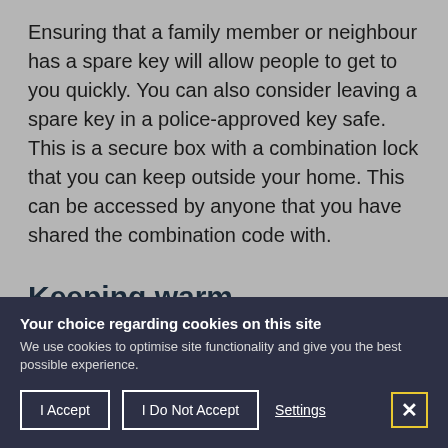Ensuring that a family member or neighbour has a spare key will allow people to get to you quickly. You can also consider leaving a spare key in a police-approved key safe. This is a secure box with a combination lock that you can keep outside your home. This can be accessed by anyone that you have shared the combination code with.
Keeping warm
After calling for help, it's important to keep warm as you may be at risk of developing hypothermia
Your choice regarding cookies on this site
We use cookies to optimise site functionality and give you the best possible experience.
I Accept | I Do Not Accept | Settings | [X]